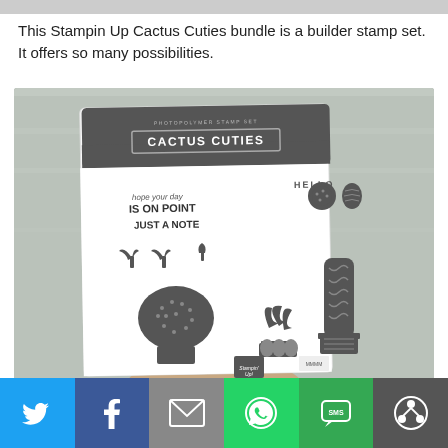This Stampin Up Cactus Cuties bundle is a builder stamp set. It offers so many possibilities.
[Figure (photo): A hand holding the Stampin Up Cactus Cuties photopolymer stamp set package, showing various cactus stamp designs and the text 'hope your day IS ON POINT', 'JUST A NOTE', and 'HELLO' on a white background card with dark grey header.]
[Figure (infographic): Social media share bar with six buttons: Twitter (blue), Facebook (dark blue), Email (grey), WhatsApp (green), SMS (green), and More/Share (dark grey).]